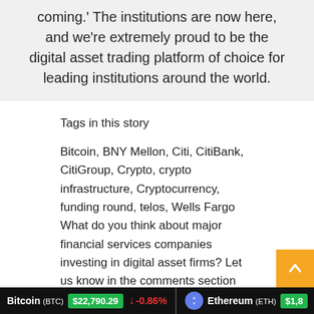coming.' The institutions are now here, and we're extremely proud to be the digital asset trading platform of choice for leading institutions around the world.
Tags in this story
Bitcoin, BNY Mellon, Citi, CitiBank, CitiGroup, Crypto, crypto infrastructure, Cryptocurrency, funding round, telos, Wells Fargo
What do you think about major financial services companies investing in digital asset firms? Let us know in the comments section below.
Bitcoin (BTC) $22,790.29 ↓ -0.86%   Ethereum (ETH) $1,8...